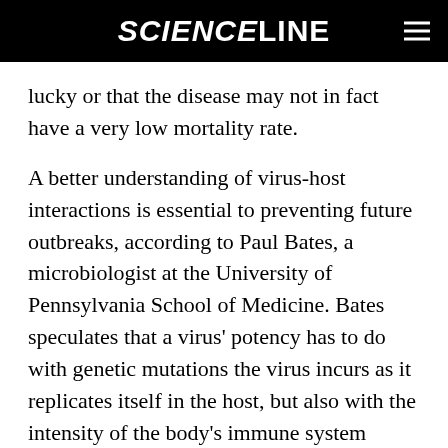SCIENCELINE
lucky or that the disease may not in fact have a very low mortality rate.
A better understanding of virus-host interactions is essential to preventing future outbreaks, according to Paul Bates, a microbiologist at the University of Pennsylvania School of Medicine. Bates speculates that a virus' potency has to do with genetic mutations the virus incurs as it replicates itself in the host, but also with the intensity of the body's immune system response to the viral invasion. According to Bates, some viruses, such as the highly lethal Ebola Zaire strain overwhelm the immune